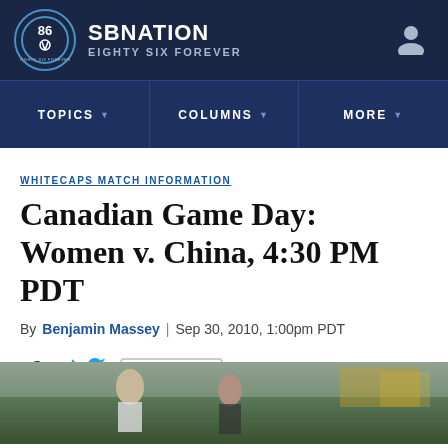SB NATION | EIGHTY SIX FOREVER
TOPICS | COLUMNS | MORE
WHITECAPS MATCH INFORMATION
Canadian Game Day: Women v. China, 4:30 PM PDT
By Benjamin Massey | Sep 30, 2010, 1:00pm PDT
SHARE
[Figure (photo): Two female soccer players in action on field with crowd in background]